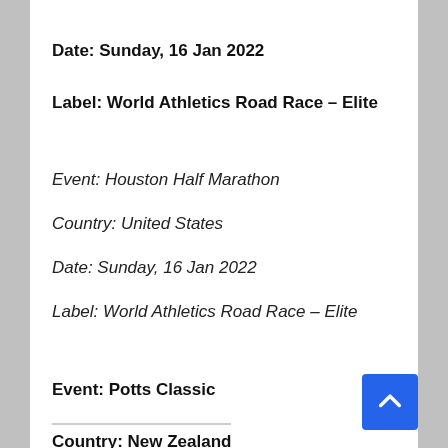Date: Sunday, 16 Jan 2022
Label: World Athletics Road Race – Elite
Event: Houston Half Marathon
Country: United States
Date: Sunday, 16 Jan 2022
Label: World Athletics Road Race – Elite
Event: Potts Classic
Country: New Zealand